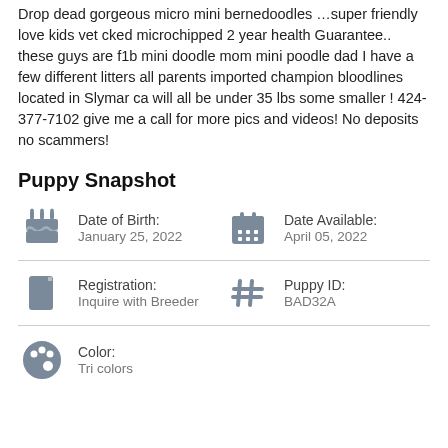Drop dead gorgeous micro mini bernedoodles …super friendly love kids vet cked microchipped 2 year health Guarantee.. these guys are f1b mini doodle mom mini poodle dad I have a few different litters all parents imported champion bloodlines located in Slymar ca will all be under 35 lbs some smaller ! 424-377-7102 give me a call for more pics and videos! No deposits no scammers!
Puppy Snapshot
Date of Birth:
January 25, 2022
Date Available:
April 05, 2022
Registration:
Inquire with Breeder
Puppy ID:
BAD32A
Color:
Tri colors